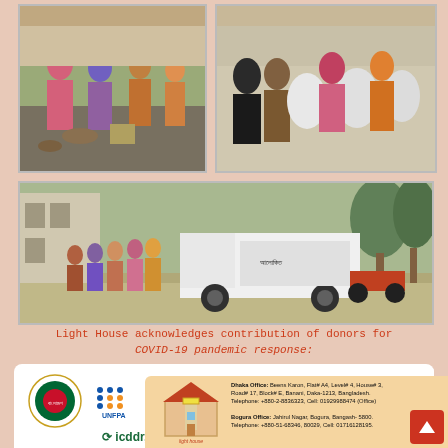[Figure (photo): People distributing or receiving goods/food items at a local market or distribution point. Women in colorful traditional dress visible.]
[Figure (photo): People carrying large white sacks, likely aid distribution. Women in traditional dress.]
[Figure (photo): Wide scene of people queuing near a white truck with signage, street scene in Bangladesh.]
Light House acknowledges contribution of donors for COVID-19 pandemic response:
[Figure (infographic): Donor logos panel including: Government of Bangladesh, UNFPA, UKaid, Democracy International, USAID, Counterpart International, UN Women, icddr,b, Save the Children, Women's Peace & Humanitarian Fund, Pagusha Inno Foundation, German Doctors, UNSW Sydney, ADB (Asian Development Bank), Rainbow logo, UNHCR]
[Figure (infographic): Light House organization logo and contact details. Dhaka Office: Beens Karon, Flat# A4, Level# 4, House# 3, Road# 17, Block# E, Banani, Daka-1213, Bangladesh. Telephone: +880-2-8836323, Cell: 01929988474 (Office). Bogura Office: Jahirul Nagar, Bogura, Bangash-5800. Telephone: +880-51-68346, 80029, Cell: 01716128195.]